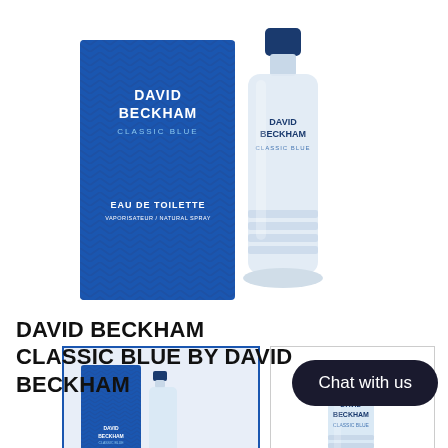[Figure (photo): David Beckham Classic Blue Eau de Toilette product shot showing blue patterned box and clear glass bottle with blue cap]
[Figure (photo): Thumbnail 1: David Beckham Classic Blue box and small bottle on light blue background]
[Figure (photo): Thumbnail 2: David Beckham Classic Blue small glass bottle with blue cap on white background]
DAVID BECKHAM CLASSIC BLUE BY DAVID BECKHAM
Chat with us